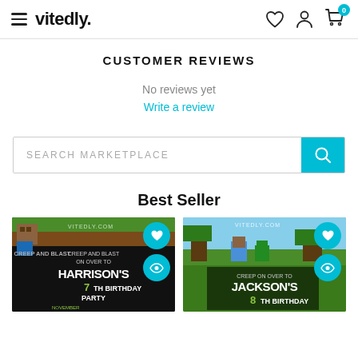vitedly.
CUSTOMER REVIEWS
No reviews yet
Write a review
SEARCH MARKETPLACE
Best Seller
[Figure (screenshot): Minecraft-themed birthday party invitation for Harrison's 7th birthday party, showing a creeper and text 'Creep and Blast on over to Harrison's 7th Birthday Party November']
[Figure (screenshot): Minecraft-themed birthday party invitation for Jackson's 8th birthday, showing characters and text 'Creep on over to Jackson's 8th Birthday']